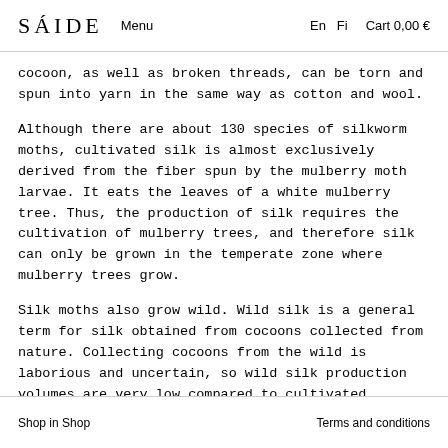SÁIDE  Menu  En  Fi  Cart 0,00 €
cocoon, as well as broken threads, can be torn and spun into yarn in the same way as cotton and wool.
Although there are about 130 species of silkworm moths, cultivated silk is almost exclusively derived from the fiber spun by the mulberry moth larvae. It eats the leaves of a white mulberry tree. Thus, the production of silk requires the cultivation of mulberry trees, and therefore silk can only be grown in the temperate zone where mulberry trees grow.
Silk moths also grow wild. Wild silk is a general term for silk obtained from cocoons collected from nature. Collecting cocoons from the wild is laborious and uncertain, so wild silk production volumes are very low compared to cultivated
Shop in Shop    Terms and conditions